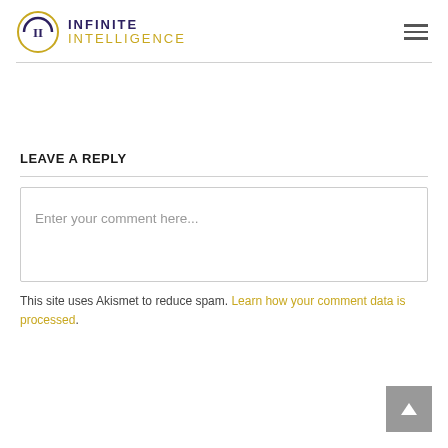[Figure (logo): Infinite Intelligence logo with circular emblem containing 'II' and text 'INFINITE INTELLIGENCE']
LEAVE A REPLY
Enter your comment here...
This site uses Akismet to reduce spam. Learn how your comment data is processed.